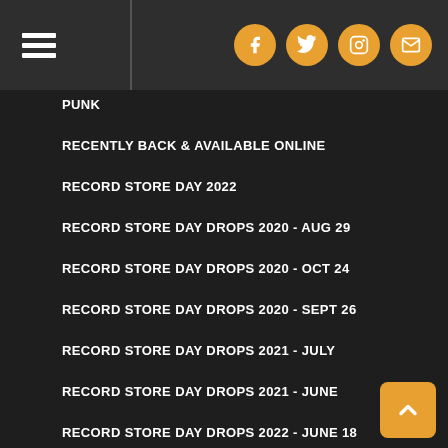Navigation header with hamburger menu and social icons (Facebook, Twitter, Instagram, Email)
PUNK
RECENTLY BACK & AVAILABLE ONLINE
RECORD STORE DAY 2022
RECORD STORE DAY DROPS 2020 - AUG 29
RECORD STORE DAY DROPS 2020 - OCT 24
RECORD STORE DAY DROPS 2020 - SEPT 26
RECORD STORE DAY DROPS 2021 - JULY
RECORD STORE DAY DROPS 2021 - JUNE
RECORD STORE DAY DROPS 2022 - JUNE 18